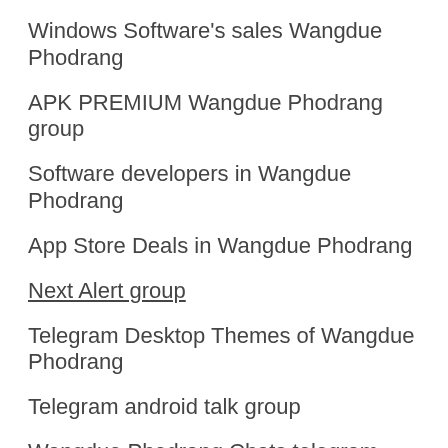Windows Software's sales Wangdue Phodrang
APK PREMIUM Wangdue Phodrang group
Software developers in Wangdue Phodrang
App Store Deals in Wangdue Phodrang
Next Alert group
Telegram Desktop Themes of Wangdue Phodrang
Telegram android talk group
Wangdue Phodrang Chats telegram channel
Wangdue Phodrang Python telegram group
Telegram Bot Talk